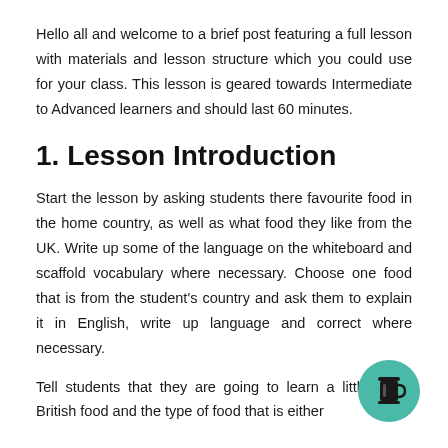Hello all and welcome to a brief post featuring a full lesson with materials and lesson structure which you could use for your class. This lesson is geared towards Intermediate to Advanced learners and should last 60 minutes.
1. Lesson Introduction
Start the lesson by asking students there favourite food in the home country, as well as what food they like from the UK. Write up some of the language on the whiteboard and scaffold vocabulary where necessary. Choose one food that is from the student's country and ask them to explain it in English, write up language and correct where necessary.
Tell students that they are going to learn a little about British food and the type of food that is either